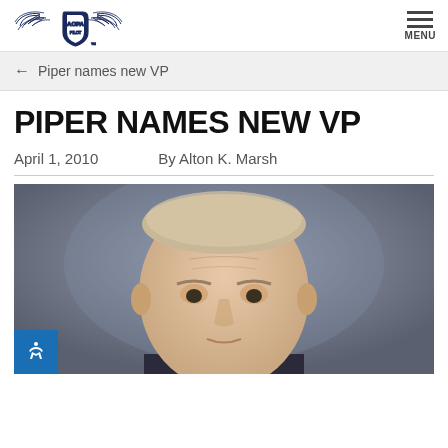AOPA logo and MENU navigation
← Piper names new VP
PIPER NAMES NEW VP
April 1, 2010   By Alton K. Marsh
[Figure (photo): Headshot photograph of a middle-aged man with short light-colored hair, against a gray gradient background]